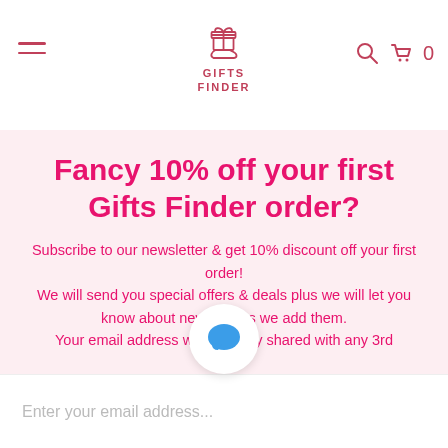[Figure (logo): Gifts Finder logo with hand holding gift icon and text GIFTS FINDER]
Fancy 10% off your first Gifts Finder order?
Subscribe to our newsletter & get 10% discount off your first order! We will send you special offers & deals plus we will let you know about new gifts as we add them. Your email address will never by shared with any 3rd
[Figure (illustration): Blue chat bubble / speech balloon icon on white circular background]
Enter your email address...